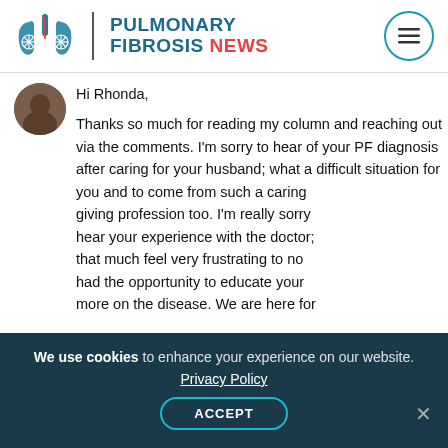[Figure (logo): Pulmonary Fibrosis News logo with lungs icon, site name in teal and red]
[Figure (photo): Circular avatar photo of a person]
Hi Rhonda,

Thanks so much for reading my column and reaching out via the comments. I'm so sorry to hear of your PF diagnosis after caring for your husband; what a difficult situation for you and to come from such a caring giving profession too. I'm really sorry to hear your experience with the doctor; that much feel very frustrating to no had the opportunity to educate your more on the disease. We are here for
We use cookies to enhance your experience on our website.
Privacy Policy
ACCEPT